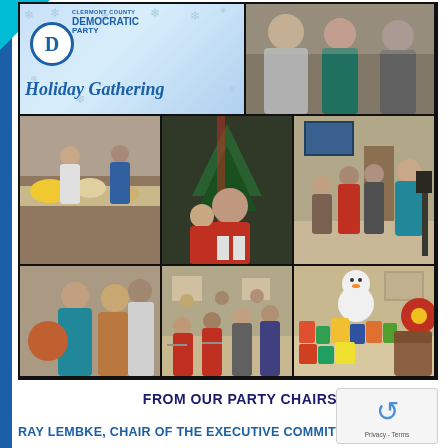[Figure (photo): Photo collage of Clermont County Democratic Party Holiday Gathering. Top left: Holiday Gathering banner with Democratic Party logo and snowflakes. Top right: Three people posing together at a party. Middle left: Buffet table with food. Middle center: Children near a decorated Christmas tree. Middle right: Group of people standing in a room. Bottom left: Two women talking. Bottom center: Crowd seated in a room. Bottom right: Collection of donated food items and holiday decorations.]
FROM OUR PARTY CHAIRS
RAY LEMBKE, CHAIR OF THE EXECUTIVE COMMIT...